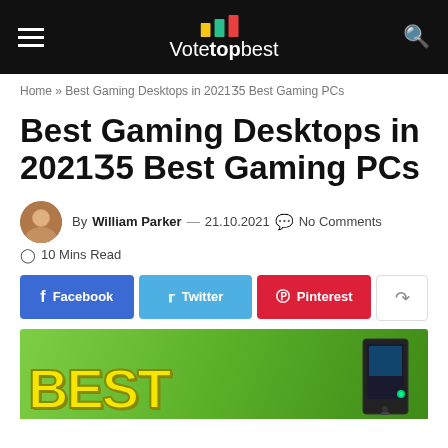Votetopbest
Home » Best Gaming Desktops in 2021N5 Best Gaming PCs
Best Gaming Desktops in 2021N5 Best Gaming PCs
By William Parker — 21.10.2021 No Comments 10 Mins Read
[Figure (photo): Hero image showing BEST text in yellow on green background with a gaming PC tower on the right]